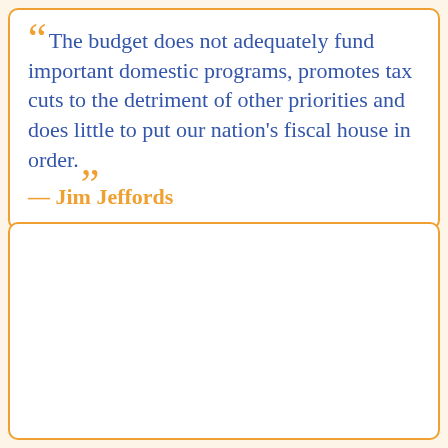“The budget does not adequately fund important domestic programs, promotes tax cuts to the detriment of other priorities and does little to put our nation's fiscal house in order.” — Jim Jeffords